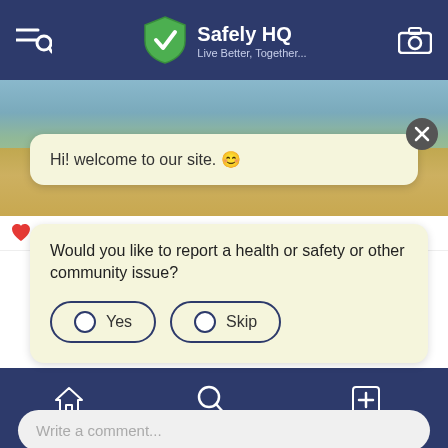[Figure (screenshot): Mobile app screenshot of Safely HQ. Top navigation bar with menu/search icon, Safely HQ logo (green shield with checkmark), title 'Safely HQ', subtitle 'Live Better, Together...', and camera icon. Beach photo background. Two chat bubbles: first says 'Hi! welcome to our site. 😊', second asks 'Would you like to report a health or safety or other community issue?' with Yes and Skip buttons. Comment input bar with 'Write a comment...' placeholder and green shield send button. Bottom navigation with Home, Search, and Add report items.]